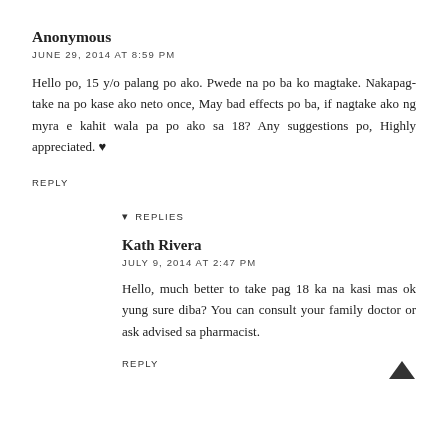Anonymous
JUNE 29, 2014 AT 8:59 PM
Hello po, 15 y/o palang po ako. Pwede na po ba ko magtake. Nakapag-take na po kase ako neto once, May bad effects po ba, if nagtake ako ng myra e kahit wala pa po ako sa 18? Any suggestions po, Highly appreciated. ♥
REPLY
▼ REPLIES
Kath Rivera
JULY 9, 2014 AT 2:47 PM
Hello, much better to take pag 18 ka na kasi mas ok yung sure diba? You can consult your family doctor or ask advised sa pharmacist.
REPLY